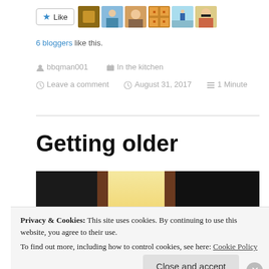[Figure (screenshot): Like button with star icon and 6 blogger avatar thumbnails]
6 bloggers like this.
bbqman001   In the kitchen
Leave a comment   August 31, 2017   1 Minute
Getting older
[Figure (photo): Dark interior photo showing wooden panel dividers with warm yellow light between them]
Privacy & Cookies: This site uses cookies. By continuing to use this website, you agree to their use. To find out more, including how to control cookies, see here: Cookie Policy
Close and accept